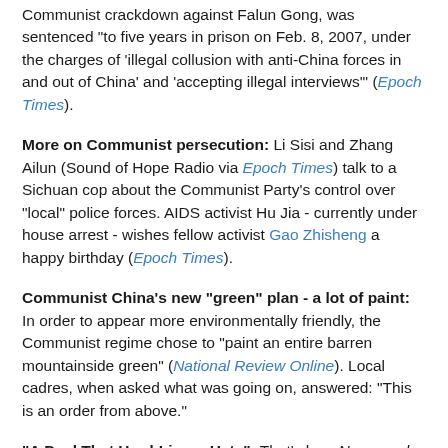Communist crackdown against Falun Gong, was sentenced "to five years in prison on Feb. 8, 2007, under the charges of 'illegal collusion with anti-China forces in and out of China' and 'accepting illegal interviews'" (Epoch Times).
More on Communist persecution: Li Sisi and Zhang Ailun (Sound of Hope Radio via Epoch Times) talk to a Sichuan cop about the Communist Party's control over "local" police forces. AIDS activist Hu Jia - currently under house arrest - wishes fellow activist Gao Zhisheng a happy birthday (Epoch Times).
Communist China's new "green" plan - a lot of paint: In order to appear more environmentally friendly, the Communist regime chose to "paint an entire barren mountainside green" (National Review Online). Local cadres, when asked what was going on, answered: "This is an order from above."
"A Deal That Hard-Liners Hate": That's how Newsweek (via MSNBC) refers to the Beijing Surrender. Count yours truly and One Free Korea in that category.